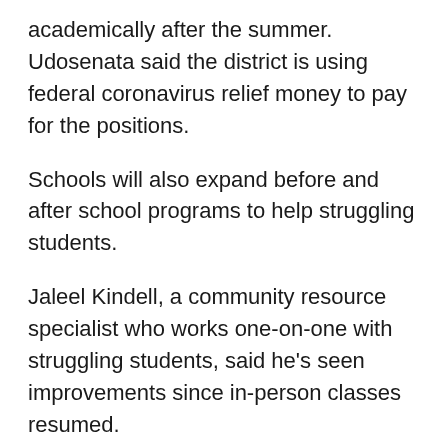academically after the summer. Udosenata said the district is using federal coronavirus relief money to pay for the positions.
Schools will also expand before and after school programs to help struggling students.
Jaleel Kindell, a community resource specialist who works one-on-one with struggling students, said he's seen improvements since in-person classes resumed.
“It makes our jobs a lot easier because we’re able to go to these schools and I’m able to see 10 kids at a time,” he said.